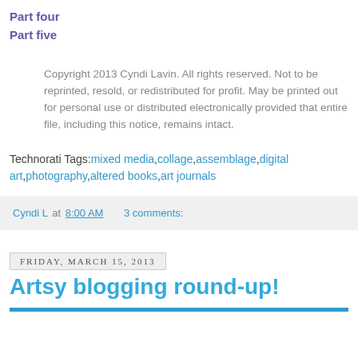Part four
Part five
Copyright 2013 Cyndi Lavin. All rights reserved. Not to be reprinted, resold, or redistributed for profit. May be printed out for personal use or distributed electronically provided that entire file, including this notice, remains intact.
Technorati Tags: mixed media,collage,assemblage,digital art,photography,altered books,art journals
Cyndi L at 8:00 AM    3 comments:
Friday, March 15, 2013
Artsy blogging round-up!